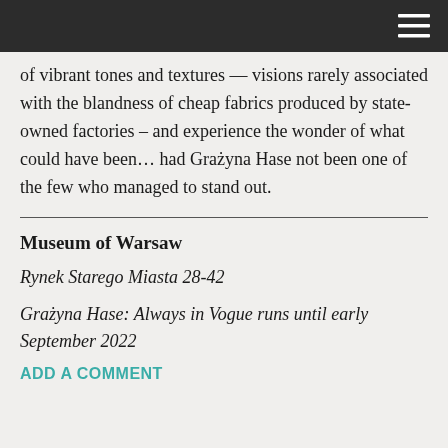≡
of vibrant tones and textures — visions rarely associated with the blandness of cheap fabrics produced by state-owned factories – and experience the wonder of what could have been… had Grażyna Hase not been one of the few who managed to stand out.
Museum of Warsaw
Rynek Starego Miasta 28-42
Grażyna Hase: Always in Vogue runs until early September 2022
ADD A COMMENT